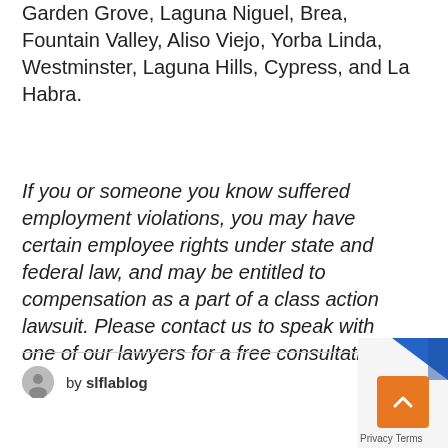Garden Grove, Laguna Niguel, Brea, Fountain Valley, Aliso Viejo, Yorba Linda, Westminster, Laguna Hills, Cypress, and La Habra.
If you or someone you know suffered employment violations, you may have certain employee rights under state and federal law, and may be entitled to compensation as a part of a class action lawsuit. Please contact us to speak with one of our lawyers for a free consultation.
by slflablog